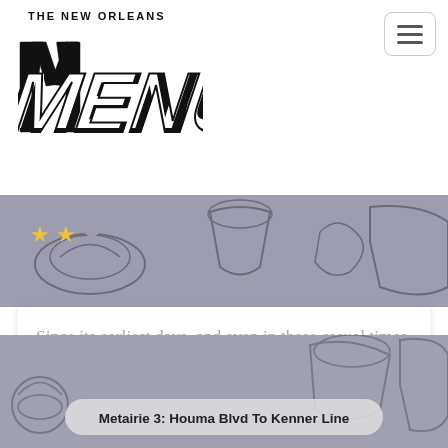THE NEW ORLEANS MENU
[Figure (illustration): Illustrated banner with food drawings on gray/lavender background; three gold stars visible on the left side]
Since its earliest days, and even in these casual times, the Bombay Club has maintained a sophistication. People tend to dress up here, even though there's no strident dress code (except on New Yea...
Contemporary Creole
[Figure (illustration): Second card banner with illustrated food drawings on gray background, with label 'Metairie 3: Houma Blvd To Kenner Line']